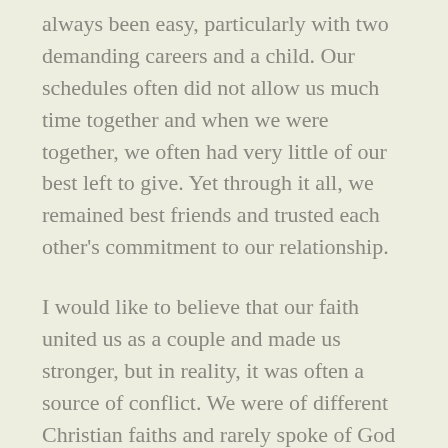always been easy, particularly with two demanding careers and a child. Our schedules often did not allow us much time together and when we were together, we often had very little of our best left to give. Yet through it all, we remained best friends and trusted each other's commitment to our relationship.
I would like to believe that our faith united us as a couple and made us stronger, but in reality, it was often a source of conflict. We were of different Christian faiths and rarely spoke of God or worshipped together until the past few years. I cannot recall that we prayed together before then. It has only been during these past few years, as we have shared our faith, prayed together, and